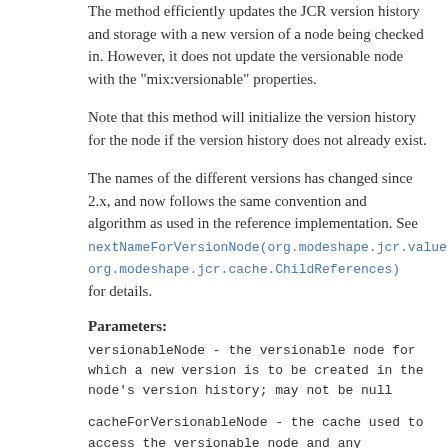The method efficiently updates the JCR version history and storage with a new version of a node being checked in. However, it does not update the versionable node with the "mix:versionable" properties.
Note that this method will initialize the version history for the node if the version history does not already exist.
The names of the different versions has changed since 2.x, and now follows the same convention and algorithm as used in the reference implementation. See nextNameForVersionNode(org.modeshape.jcr.value.Pr org.modeshape.jcr.cache.ChildReferences) for details.
Parameters:
versionableNode - the versionable node for which a new version is to be created in the node's version history; may not be null
cacheForVersionableNode - the cache used to access the versionable node and any